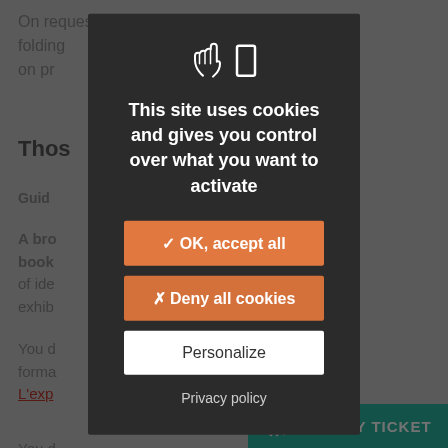On request at reception, a wheelchair or folding ... on pr...
Thos...
Guid...
A bro... book... form of ide... nt exhib...
You d... forma... rs – L'exp...
You d... free d... the size d...
Do you want to organise a...
[Figure (screenshot): Cookie consent modal dialog overlay on a webpage. The dark modal contains two icons (hand/finger and rectangle), title text 'This site uses cookies and gives you control over what you want to activate', an orange 'OK, accept all' button, an orange 'Deny all cookies' button, a white 'Personalize' button, and a 'Privacy policy' link. The background shows dimmed webpage content.]